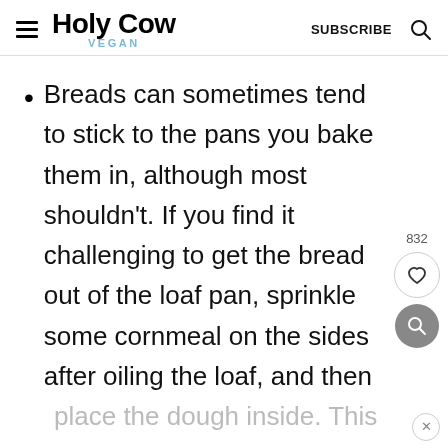Holy Cow Vegan — SUBSCRIBE
Breads can sometimes tend to stick to the pans you bake them in, although most shouldn't. If you find it challenging to get the bread out of the loaf pan, sprinkle some cornmeal on the sides after oiling the loaf, and then
place the dough inside. This